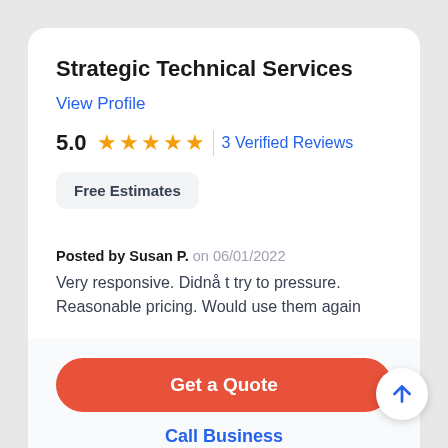Strategic Technical Services
View Profile
5.0  ★★★★★  |  3 Verified Reviews
Free Estimates
Posted by Susan P. on 06/01/2022
Very responsive. Didnå t try to pressure. Reasonable pricing. Would use them again
Get a Quote
Call Business